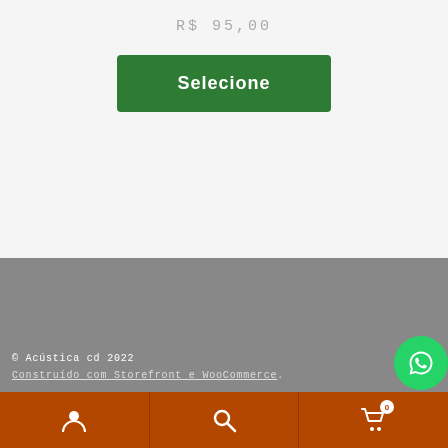R$ 95,00
[Figure (screenshot): Green 'Selecione' button]
[Figure (screenshot): Zigzag decorative border between white and gray sections]
© Acústica cd 2022
Construído com Storefront e WooCommerce.
[Figure (logo): WhatsApp floating button icon]
[Figure (screenshot): Bottom navigation bar with user, search, and cart icons on dark orange background]